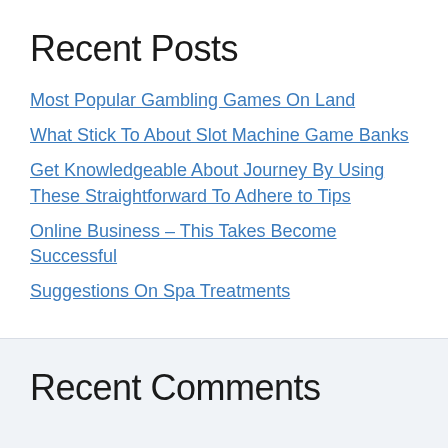Recent Posts
Most Popular Gambling Games On Land
What Stick To About Slot Machine Game Banks
Get Knowledgeable About Journey By Using These Straightforward To Adhere to Tips
Online Business – This Takes Become Successful
Suggestions On Spa Treatments
Recent Comments